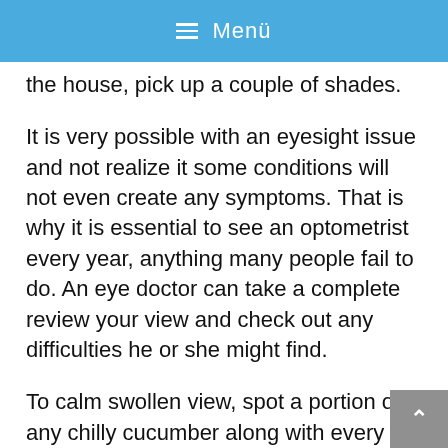≡ Menü
the house, pick up a couple of shades.
It is very possible with an eyesight issue and not realize it some conditions will not even create any symptoms. That is why it is essential to see an optometrist every year, anything many people fail to do. An eye doctor can take a complete review your view and check out any difficulties he or she might find.
To calm swollen view, spot a portion of any chilly cucumber along with every eyelid. The coolness from the cucumber pieces will relaxed the puffiness and present your